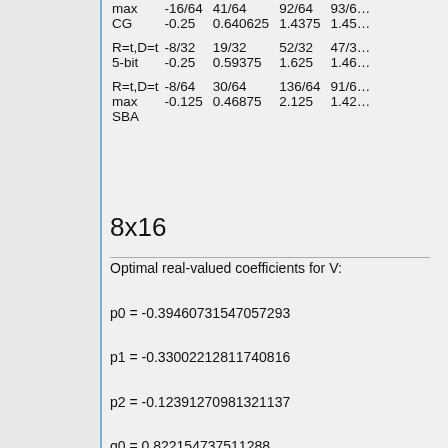|  |  |  |  |  |
| --- | --- | --- | --- | --- |
| max CG | -16/64
-0.25 | 41/64
0.640625 | 92/64
1.4375 | 93/6…
1.45… |
| R=t,D=t 5-bit | -8/32
-0.25 | 19/32
0.59375 | 52/32
1.625 | 47/3…
1.46… |
| R=t,D=t max SBA | -8/64
-0.125 | 30/64
0.46875 | 136/64
2.125 | 91/6…
1.42… |
8x16
Optimal real-valued coefficients for V:
p0 = -0.39460731547057293
p1 = -0.33002212811740816
p2 = -0.12391270981321137
q0 = 0.822154737511288
q1 = 0.632488694485779
q2 = 0.40214668677553894
CG = 9.56867